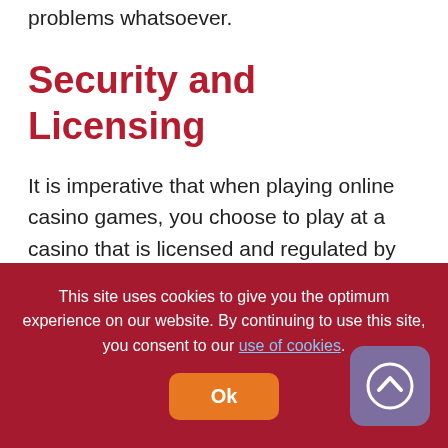problems whatsoever.
Security and Licensing
It is imperative that when playing online casino games, you choose to play at a casino that is licensed and regulated by reputable and respected authorities. This is important because unregulated casinos could only be after your money and casinos that have gone to the time and trouble of ensuring transparency and authenticity are the ones to trust. Licenses are not issued easily, the online casino has to prove that they have the strictest player protection standards in place. This is especially useful
This site uses cookies to give you the optimum experience on our website. By continuing to use this site, you consent to our use of cookies. Ok